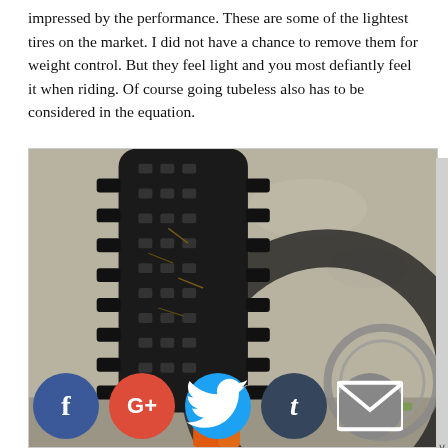impressed by the performance. These are some of the lightest tires on the market. I did not have a chance to remove them for weight control. But they feel light and you most defiantly feel it when riding. Of course going tubeless also has to be considered in the equation.
[Figure (photo): Close-up photo of a fat mountain bike tire against a granite rock background, with the wheel shadow visible. Social share buttons (Facebook, Google+, Twitter, Tumblr, Email) overlay the bottom of the image.]